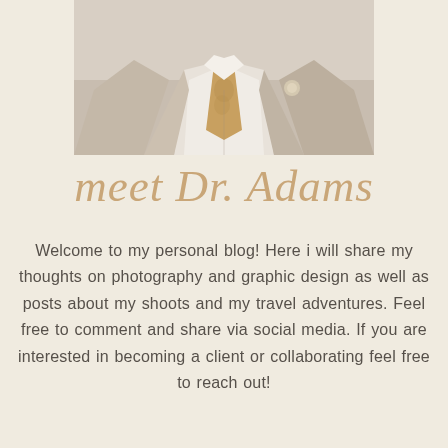[Figure (photo): Photo of a man in a beige/tan suit with a decorative tie and boutonniere, cropped to show torso only]
meet Dr. Adams
Welcome to my personal blog! Here i will share my thoughts on photography and graphic design as well as posts about my shoots and my travel adventures. Feel free to comment and share via social media. If you are interested in becoming a client or collaborating feel free to reach out!